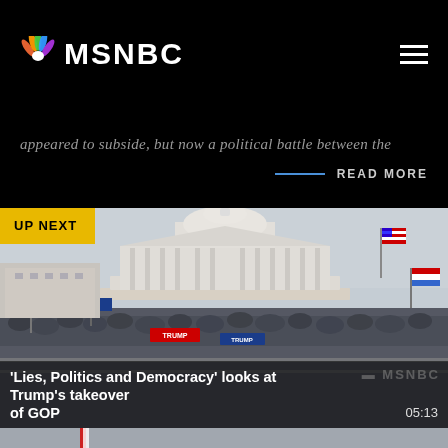MSNBC
appeared to subside, but now a political battle between the
READ MORE
[Figure (screenshot): MSNBC video thumbnail showing Capitol building crowd scene labeled 'UP NEXT'. Title overlay reads: 'Lies, Politics and Democracy' looks at Trump's takeover of GOP. Duration: 05:13]
[Figure (screenshot): Partial view of another video thumbnail showing overcast sky scene at the bottom of the page]